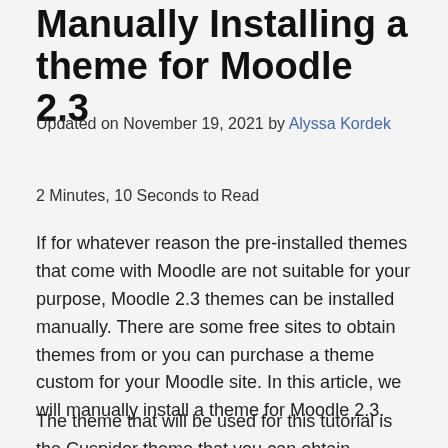Manually Installing a theme for Moodle 2.3
Updated on November 19, 2021 by Alyssa Kordek
2 Minutes, 10 Seconds to Read
If for whatever reason the pre-installed themes that come with Moodle are not suitable for your purpose, Moodle 2.3 themes can be installed manually. There are some free sites to obtain themes from or you can purchase a theme custom for your Moodle site. In this article, we will manually install a theme for Moodle 2.3.
The theme that will be used for this tutorial is the Cuspidor theme that you can obtain